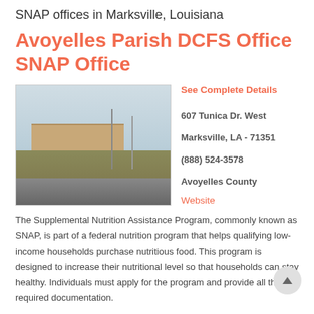SNAP offices in Marksville, Louisiana
Avoyelles Parish DCFS Office SNAP Office
See Complete Details
607 Tunica Dr. West
Marksville, LA - 71351
(888) 524-3578
Avoyelles County
[Figure (photo): Exterior photo of the Avoyelles Parish DCFS Office building showing a low brick structure with parking area and utility poles under a cloudy sky.]
Website
The Supplemental Nutrition Assistance Program, commonly known as SNAP, is part of a federal nutrition program that helps qualifying low-income households purchase nutritious food. This program is designed to increase their nutritional level so that households can stay healthy. Individuals must apply for the program and provide all the required documentation.